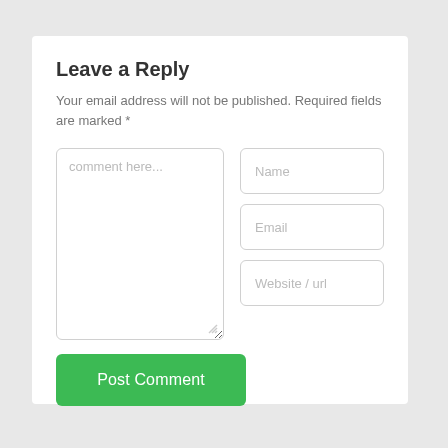Leave a Reply
Your email address will not be published. Required fields are marked *
[Figure (screenshot): Web comment form with textarea labeled 'comment here...', input fields for Name, Email, Website/url, and a green 'Post Comment' button]